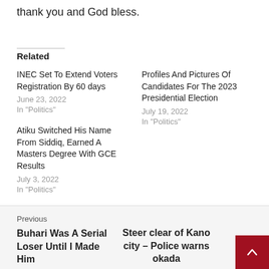thank you and God bless.
Related
INEC Set To Extend Voters Registration By 60 days
June 23, 2022
In "Politics"
Profiles And Pictures Of Candidates For The 2023 Presidential Election
July 19, 2022
In "Politics"
Atiku Switched His Name From Siddiq, Earned A Masters Degree With GCE Results
July 3, 2022
In "Politics"
Previous
Buhari Was A Serial Loser Until I Made Him
Steer clear of Kano city – Police warns okada